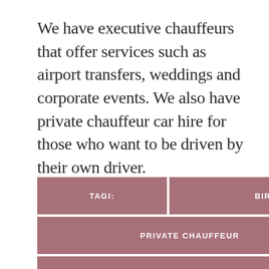We have executive chauffeurs that offer services such as airport transfers, weddings and corporate events. We also have private chauffeur car hire for those who want to be driven by their own driver.
TAGI:
BIRMINGHAM
PRIVATE CHAUFFEUR
EXECUTIVE CHAUFFEURS